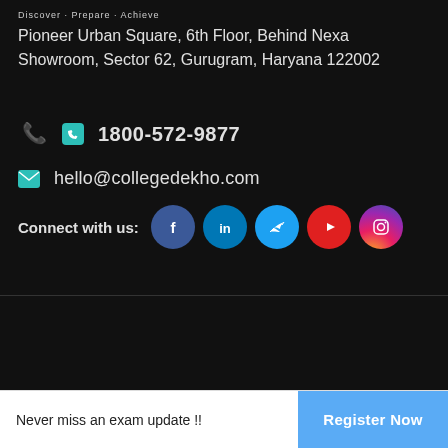Discover · Prepare · Achieve
Pioneer Urban Square, 6th Floor, Behind Nexa Showroom, Sector 62, Gurugram, Haryana 122002
1800-572-9877
hello@collegedekho.com
Connect with us:
[Figure (infographic): Social media icons: Facebook, LinkedIn, Twitter, YouTube, Instagram circles, and a scroll-to-top arrow button]
About Us   Contact Us   Join Us   Terms & Conditions   Privacy Policy   © 2022 CollegeDekho.com
Never miss an exam update !!
Register Now